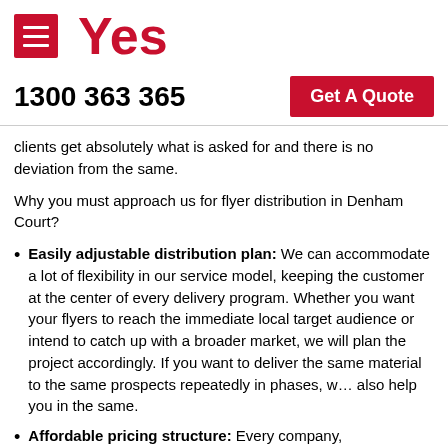[Figure (logo): Yes brand logo with red hamburger menu icon and red 'Yes' text]
1300 363 365   Get A Quote
clients get absolutely what is asked for and there is no deviation from the same.
Why you must approach us for flyer distribution in Denham Court?
Easily adjustable distribution plan: We can accommodate a lot of flexibility in our service model, keeping the customer at the center of every delivery program. Whether you want your flyers to reach the immediate local target audience or intend to catch up with a broader market, we will plan the project accordingly. If you want to deliver the same material to the same prospects repeatedly in phases, we also help you in the same.
Affordable pricing structure: Every company,